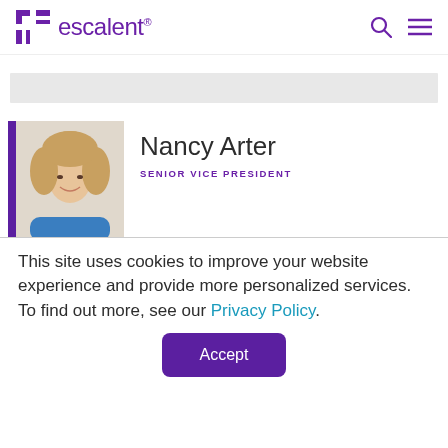escalent® [logo with search and menu icons]
[Figure (other): Gray horizontal banner/bar]
[Figure (photo): Photo of Nancy Arter, a woman with blonde hair wearing a blue sleeveless top, smiling]
Nancy Arter
SENIOR VICE PRESIDENT
This site uses cookies to improve your website experience and provide more personalized services. To find out more, see our Privacy Policy.
Accept